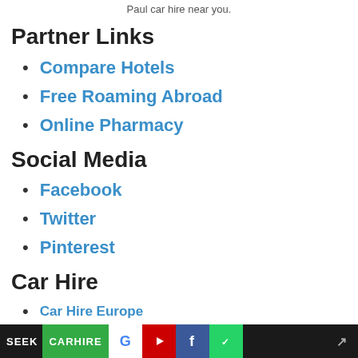Paul car hire near you.
Partner Links
Compare Hotels
Free Roaming Abroad
Online Pharmacy
Social Media
Facebook
Twitter
Pinterest
Car Hire
Car Hire Europe
Car Hire UK
Car Hire US / Canada
Car Hire Australia
SEEK CARHIRE